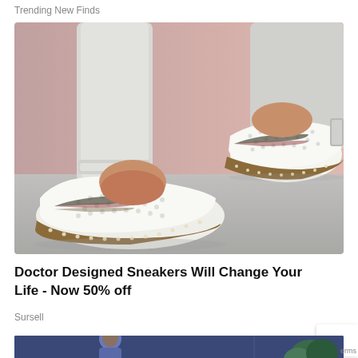Trending New Finds
[Figure (photo): Photo of a person wearing white slip-on sneakers with brown soles, perforated upper, and colorful stripe detail, against a pink and grey background]
Doctor Designed Sneakers Will Change Your Life - Now 50% off
Sursell
[Figure (illustration): Bottom portion of an animated/cartoon scene with figures, partially visible, with dark blue/purple background]